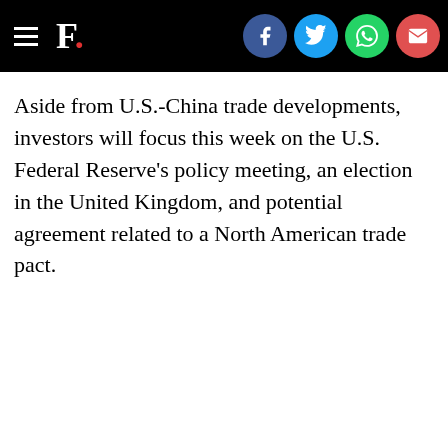F. [Forbes logo with social share buttons: Facebook, Twitter, WhatsApp, Email]
Aside from U.S.-China trade developments, investors will focus this week on the U.S. Federal Reserve's policy meeting, an election in the United Kingdom, and potential agreement related to a North American trade pact.